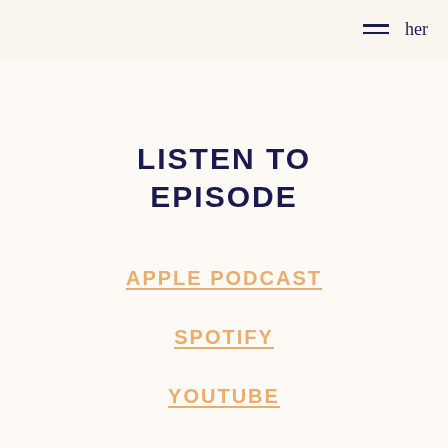her
LISTEN TO EPISODE
APPLE PODCAST
SPOTIFY
YOUTUBE
ANCHOR.FM